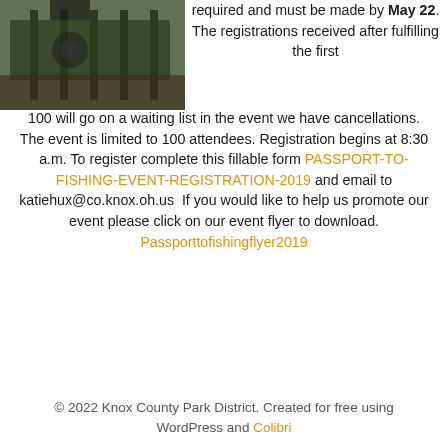[Figure (photo): Partial photo of outdoor scene, appears to show equipment on a wooden deck or dock with a person's legs visible]
required and must be made by May 22. The registrations received after fulfilling the first 100 will go on a waiting list in the event we have cancellations. The event is limited to 100 attendees. Registration begins at 8:30 a.m. To register complete this fillable form PASSPORT-TO-FISHING-EVENT-REGISTRATION-2019 and email to katiehux@co.knox.oh.us  If you would like to help us promote our event please click on our event flyer to download. Passporttofishingflyer2019
© 2022 Knox County Park District. Created for free using WordPress and Colibri